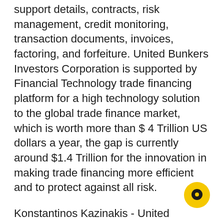support details, contracts, risk management, credit monitoring, transaction documents, invoices, factoring, and forfeiture. United Bunkers Investors Corporation is supported by Financial Technology trade financing platform for a high technology solution to the global trade finance market, which is worth more than $ 4 Trillion US dollars a year, the gap is currently around $1.4 Trillion for the innovation in making trade financing more efficient and to protect against all risk.
Konstantinos Kazinakis - United Bunkers Investors Corporation: http://konstantinoskazinakisnews.com
Konstantinos Kazinakis of United Bunkers Investors Corporation Examines Investment Security Measures for Today's Markets: